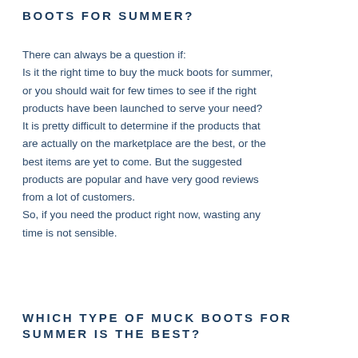BOOTS FOR SUMMER?
There can always be a question if:
Is it the right time to buy the muck boots for summer, or you should wait for few times to see if the right products have been launched to serve your need? It is pretty difficult to determine if the products that are actually on the marketplace are the best, or the best items are yet to come. But the suggested products are popular and have very good reviews from a lot of customers.
So, if you need the product right now, wasting any time is not sensible.
WHICH TYPE OF MUCK BOOTS FOR SUMMER IS THE BEST?